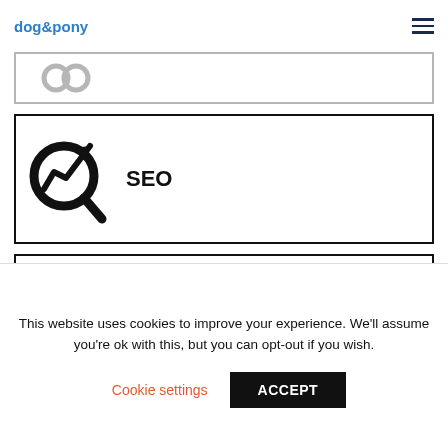dog&pony
[Figure (illustration): Partial view of a card (cut off at top)]
[Figure (illustration): SEO card with magnifying glass and upward chart icon, label: SEO]
[Figure (illustration): Link building card with chain link icon, label: Link building]
This website uses cookies to improve your experience. We'll assume you're ok with this, but you can opt-out if you wish.
Cookie settings
ACCEPT